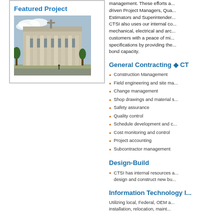Featured Project
[Figure (photo): Photograph of a large stone government or civic building with tall columns and a cross, viewed from street level with trees in foreground]
management. These efforts are driven Project Managers, Quality Estimators and Superintendents. CTSI also uses our internal co... mechanical, electrical and arc... customers with a peace of mi... specifications by providing the... bond capacity.
General Contracting ◆ CT...
Construction Management
Field engineering and site ma...
Change management
Shop drawings and material s...
Safety assurance
Quality control
Schedule development and c...
Cost monitoring and control
Project accounting
Subcontractor management
Design-Build
CTSI has internal resources a... design and construct new bu...
Information Technology I...
Utilizing local, Federal, OEM a... installation, relocation, maint...